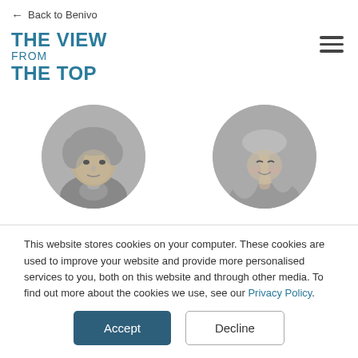← Back to Benivo
THE VIEW FROM THE TOP
[Figure (photo): Two circular black-and-white portrait photos side by side: on the left a man with wavy hair, on the right a woman with long hair smiling.]
This website stores cookies on your computer. These cookies are used to improve your website and provide more personalised services to you, both on this website and through other media. To find out more about the cookies we use, see our Privacy Policy.
Accept
Decline